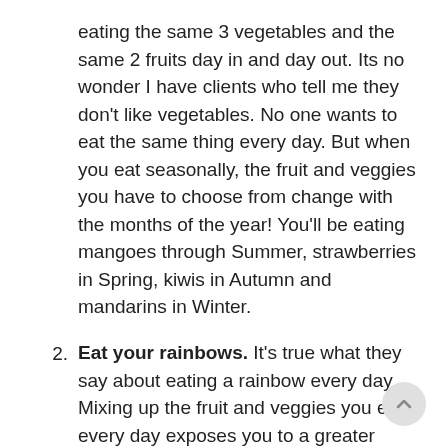eating the same 3 vegetables and the same 2 fruits day in and day out. Its no wonder I have clients who tell me they don't like vegetables. No one wants to eat the same thing every day. But when you eat seasonally, the fruit and veggies you have to choose from change with the months of the year! You'll be eating mangoes through Summer, strawberries in Spring, kiwis in Autumn and mandarins in Winter.
Eat your rainbows. It's true what they say about eating a rainbow every day. Mixing up the fruit and veggies you eat every day exposes you to a greater number of important phytochemicals, or plant nutrients that your body needs to stay healthy. The different colours of your foods are actually